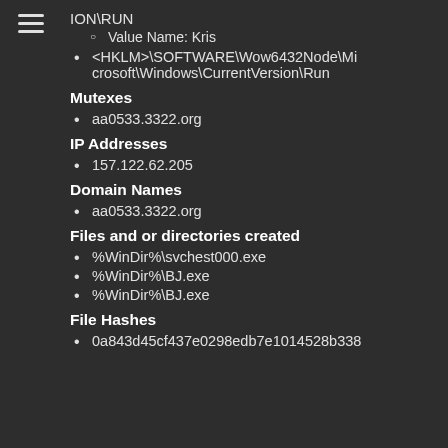ION\RUN
Value Name: Kris
<HKLM>\SOFTWARE\Wow6432Node\Microsoft\Windows\CurrentVersion\Run
Mutexes
aa0533.3322.org
IP Addresses
157.122.62.205
Domain Names
aa0533.3322.org
Files and or directories created
%WinDir%\svchest000.exe
%WinDir%\BJ.exe
%WinDir%\BJ.exe
File Hashes
0a843d45cf437e0298edb7e1014528b338